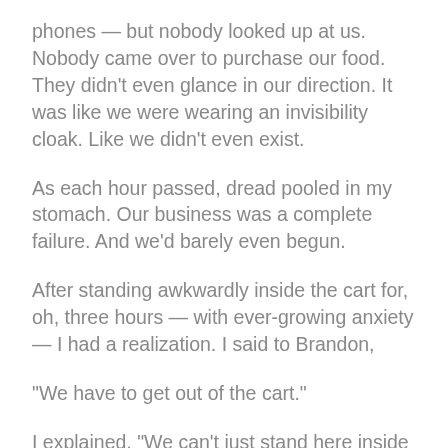phones — but nobody looked up at us. Nobody came over to purchase our food. They didn't even glance in our direction. It was like we were wearing an invisibility cloak. Like we didn't even exist.
As each hour passed, dread pooled in my stomach. Our business was a complete failure. And we'd barely even begun.
After standing awkwardly inside the cart for, oh, three hours — with ever-growing anxiety — I had a realization. I said to Brandon,
“We have to get out of the cart.”
I explained, “We can’t just stand here inside the cart. Nobody’s noticing us. It’s not working. I’m going to walk around…